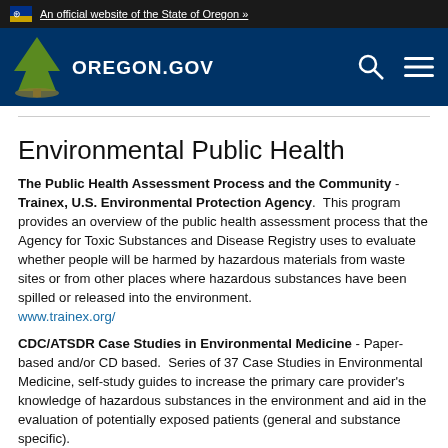An official website of the State of Oregon »
[Figure (logo): Oregon.gov logo with pine tree on blue navigation bar, search icon and hamburger menu]
Environmental Public Health
The Public Health Assessment Process and the Community - Trainex, U.S. Environmental Protection Agency. This program provides an overview of the public health assessment process that the Agency for Toxic Substances and Disease Registry uses to evaluate whether people will be harmed by hazardous materials from waste sites or from other places where hazardous substances have been spilled or released into the environment. www.trainex.org/
CDC/ATSDR Case Studies in Environmental Medicine - Paper-based and/or CD based. Series of 37 Case Studies in Environmental Medicine, self-study guides to increase the primary care provider's knowledge of hazardous substances in the environment and aid in the evaluation of potentially exposed patients (general and substance specific).